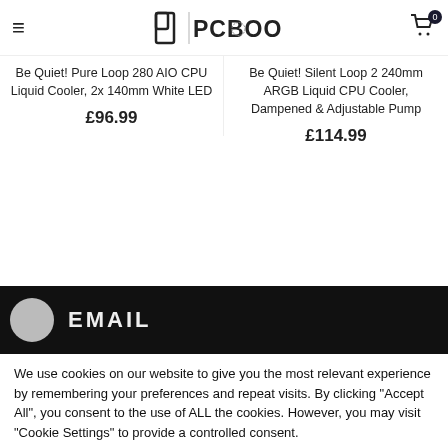PCBoost - online store header with hamburger menu and cart
Be Quiet! Pure Loop 280 AIO CPU Liquid Cooler, 2x 140mm White LED
£96.99
Be Quiet! Silent Loop 2 240mm ARGB Liquid CPU Cooler, Dampened & Adjustable Pump
£114.99
EMAIL
We use cookies on our website to give you the most relevant experience by remembering your preferences and repeat visits. By clicking "Accept All", you consent to the use of ALL the cookies. However, you may visit "Cookie Settings" to provide a controlled consent.
Cookie Settings
Accept All